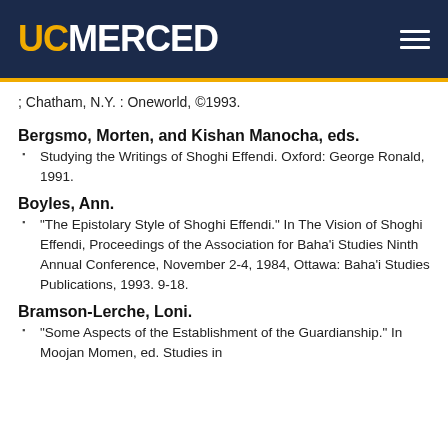UC MERCED
; Chatham, N.Y. : Oneworld, ©1993.
Bergsmo, Morten, and Kishan Manocha, eds.
Studying the Writings of Shoghi Effendi. Oxford: George Ronald, 1991.
Boyles, Ann.
"The Epistolary Style of Shoghi Effendi." In The Vision of Shoghi Effendi, Proceedings of the Association for Baha'i Studies Ninth Annual Conference, November 2-4, 1984, Ottawa: Baha'i Studies Publications, 1993. 9-18.
Bramson-Lerche, Loni.
"Some Aspects of the Establishment of the Guardianship." In Moojan Momen, ed. Studies in